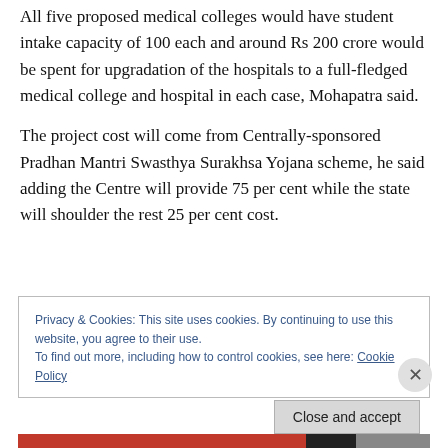All five proposed medical colleges would have student intake capacity of 100 each and around Rs 200 crore would be spent for upgradation of the hospitals to a full-fledged medical college and hospital in each case, Mohapatra said.
The project cost will come from Centrally-sponsored Pradhan Mantri Swasthya Surakhsa Yojana scheme, he said adding the Centre will provide 75 per cent while the state will shoulder the rest 25 per cent cost.
Privacy & Cookies: This site uses cookies. By continuing to use this website, you agree to their use.
To find out more, including how to control cookies, see here: Cookie Policy